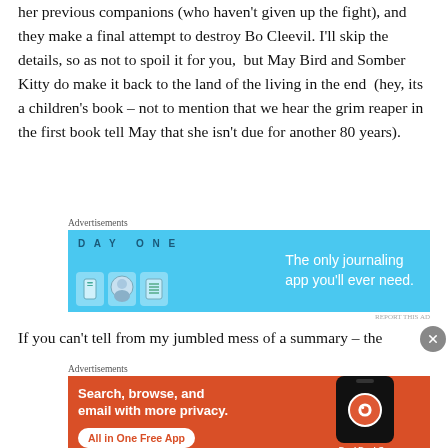her previous companions (who haven't given up the fight), and they make a final attempt to destroy Bo Cleevil. I'll skip the details, so as not to spoil it for you,  but May Bird and Somber Kitty do make it back to the land of the living in the end  (hey, its a children's book – not to mention that we hear the grim reaper in the first book tell May that she isn't due for another 80 years).
[Figure (other): Day One app advertisement banner with blue background showing app icons and text 'The only journaling app you'll ever need.']
If you can't tell from my jumbled mess of a summary – the
[Figure (other): DuckDuckGo app advertisement with orange background showing 'Search, browse, and email with more privacy. All in One Free App' with phone graphic and DuckDuckGo logo.]